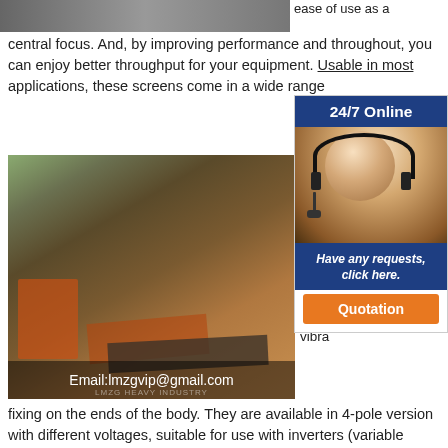[Figure (photo): Top partial strip image of mining/quarry landscape]
ease of use as a central focus. And, by improving performance and throughout, you can enjoy better throughput for your equipment. Usable in most applications, these screens come in a wide range
[Figure (photo): Mining site with orange conveyor belts and equipment in rocky terrain. Overlay text: Email:lmzgvip@gmail.com]
MV
Vibr
Vibr
MVP
Vibr
SV a
vibra
[Figure (infographic): 24/7 Online customer service widget with photo of woman with headset, 'Have any requests, click here.' text in navy blue, and orange 'Quotation' button]
fixing on the ends of the body. They are available in 4-pole version with different voltages, suitable for use with inverters (variable frequency drive) and centrifugal force variable from 3,500 to 8,000 kg, adjustable on each individual model. Contact us!
[Figure (photo): Bottom partial light blue image strip]
Derrick Repulp, wet